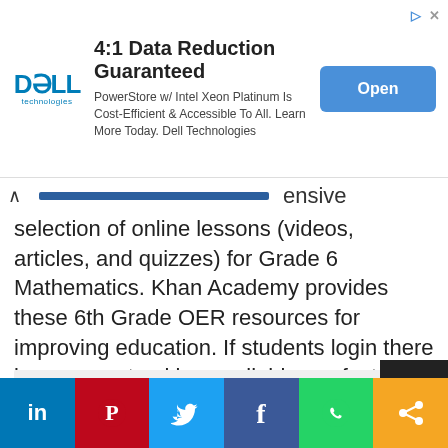[Figure (other): Dell Technologies advertisement banner. Title: '4:1 Data Reduction Guaranteed'. Body: 'PowerStore w/ Intel Xeon Platinum Is Cost-Efficient & Accessible To All. Learn More Today. Dell Technologies'. Blue 'Open' button on right.]
ensive selection of online lessons (videos, articles, and quizzes) for Grade 6 Mathematics. Khan Academy provides these 6th Grade OER resources for improving education. If students login there is progress tracking available, perfect for home school or extra tutoring:
Khan Academy Grade 6 Lessons and Quizzes Maths Online
[Figure (screenshot): Gray content placeholder box]
LinkedIn | Pinterest | Twitter | Facebook | WhatsApp | Share